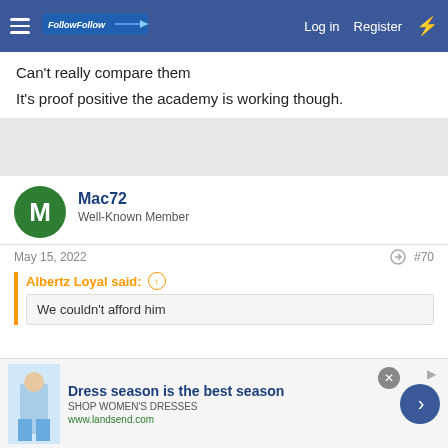FollowFollow | Log in | Register
Can't really compare them
It's proof positive the academy is working though.
Mac72
Well-Known Member
May 15, 2022  #70
Albertz Loyal said:
We couldn't afford him
He's out of contract next summer, coming off a bad loan at
[Figure (screenshot): Advertisement banner: Dress season is the best season - SHOP WOMEN'S DRESSES - www.landsend.com]